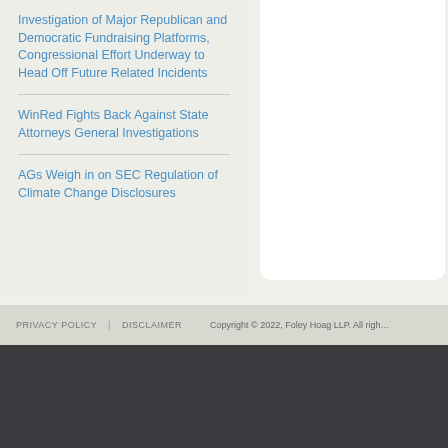Investigation of Major Republican and Democratic Fundraising Platforms, Congressional Effort Underway to Head Off Future Related Incidents
WinRed Fights Back Against State Attorneys General Investigations
AGs Weigh in on SEC Regulation of Climate Change Disclosures
PRIVACY POLICY | DISCLAIMER    Copyright © 2022, Foley Hoag LLP. All rights reserved.
Boston
Seaport West
155 Seaport Boulevard
New York
1301 Avenue of the Americas
New York, NY 10019